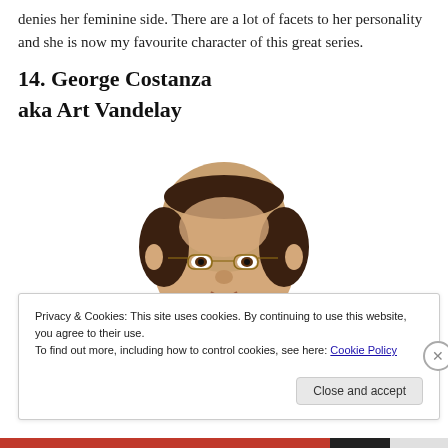denies her feminine side. There are a lot of facets to her personality and she is now my favourite character of this great series.
14. George Costanza
aka Art Vandelay
[Figure (photo): Photo of George Costanza character, balding man with glasses]
Privacy & Cookies: This site uses cookies. By continuing to use this website, you agree to their use.
To find out more, including how to control cookies, see here: Cookie Policy
Close and accept